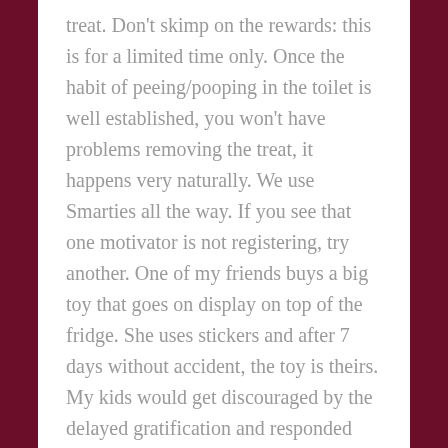treat. Don't skimp on the rewards: this is for a limited time only. Once the habit of peeing/pooping in the toilet is well established, you won't have problems removing the treat, it happens very naturally. We use Smarties all the way. If you see that one motivator is not registering, try another. One of my friends buys a big toy that goes on display on top of the fridge. She uses stickers and after 7 days without accident, the toy is theirs. My kids would get discouraged by the delayed gratification and responded better to the immediate gratification of a single Smarties candy. For the purpose of this post, I will use "Smarties" as a synonym for "reward".
3. Reward liberally. At first, I give Smarties to